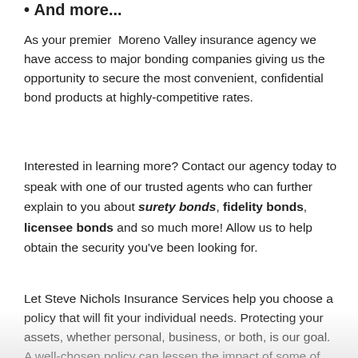And more...
As your premier Moreno Valley insurance agency we have access to major bonding companies giving us the opportunity to secure the most convenient, confidential bond products at highly-competitive rates.
Interested in learning more? Contact our agency today to speak with one of our trusted agents who can further explain to you about surety bonds, fidelity bonds, licensee bonds and so much more! Allow us to help obtain the security you’ve been looking for.
Let Steve Nichols Insurance Services help you choose a policy that will fit your individual needs. Protecting your assets, whether personal, business, or both, is our goal. A well-chosen policy can lessen the impact of some of life’s